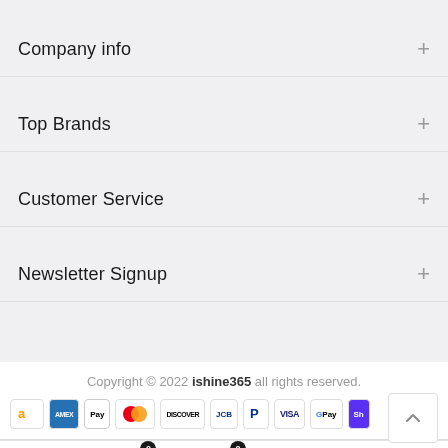Company info
Top Brands
Customer Service
Newsletter Signup
Copyright © 2022 ishine365 all rights reserved.
[Figure (other): Payment method icons: Amazon, Amex, Apple Pay, Mastercard, Discover, JCB, PayPal, Visa, Google Pay, Shop]
Shop | Wishlist 0 | Cart 0 | Account | Search